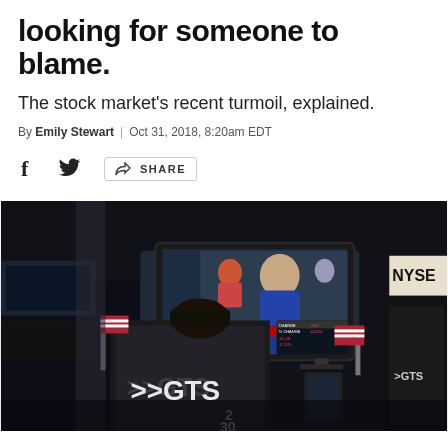looking for someone to blame.
The stock market's recent turmoil, explained.
By Emily Stewart | Oct 31, 2018, 8:20am EDT
[Figure (photo): A NYSE floor trader wearing a GTS vest watches a TV monitor showing President Trump signing bills to roll back regulations, with stock market data visible on screen.]